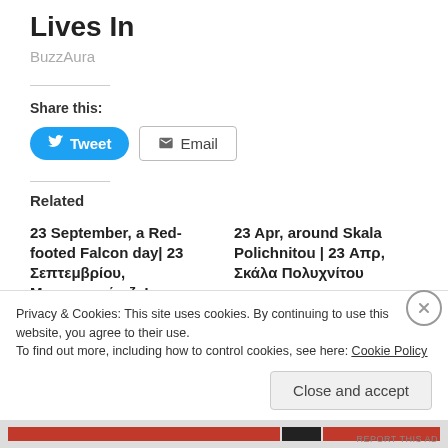Lives In
BuzzAura
Share this:
Tweet  Email
Related
23 September, a Red-footed Falcon day| 23 Σεπτεμβρίου, Μαυροκιρκίνεζα!
23 Apr, around Skala Polichnitou | 23 Απρ, Σκάλα Πολυχνίτου
Advertisements
Privacy & Cookies: This site uses cookies. By continuing to use this website, you agree to their use.
To find out more, including how to control cookies, see here: Cookie Policy
Close and accept